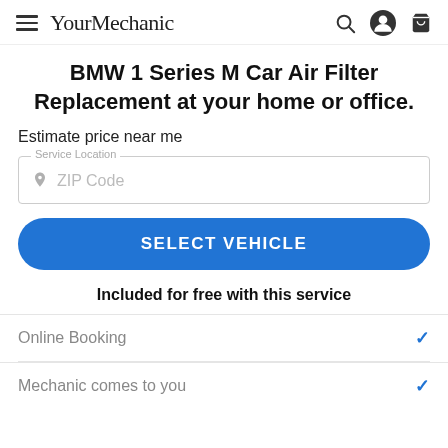YourMechanic
BMW 1 Series M Car Air Filter Replacement at your home or office.
Estimate price near me
Service Location / ZIP Code
SELECT VEHICLE
Included for free with this service
Online Booking
Mechanic comes to you